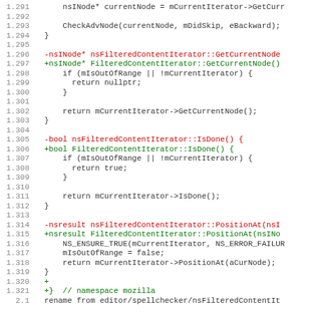Code diff showing C++ source code lines 1.291-2.1 with red (removed) and green (added) lines for nsFilteredContentIterator refactoring